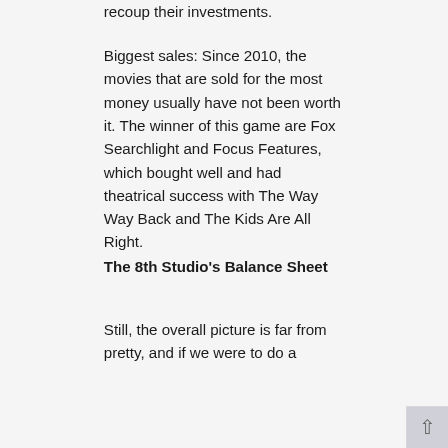recoup their investments.
Biggest sales: Since 2010, the movies that are sold for the most money usually have not been worth it. The winner of this game are Fox Searchlight and Focus Features, which bought well and had theatrical success with The Way Way Back and The Kids Are All Right.
The 8th Studio's Balance Sheet
Still, the overall picture is far from pretty, and if we were to do a